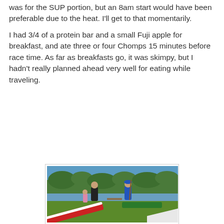was for the SUP portion, but an 8am start would have been preferable due to the heat. I'll get to that momentarily.
I had 3/4 of a protein bar and a small Fuji apple for breakfast, and ate three or four Chomps 15 minutes before race time. As far as breakfasts go, it was skimpy, but I hadn't really planned ahead very well for eating while traveling.
[Figure (photo): Outdoor photo near a waterway showing people with stand-up paddleboards on a grassy area. One person in a blue shirt and cap holds a paddle, another in a black outfit stands nearby. Green trees and calm water visible in the background.]